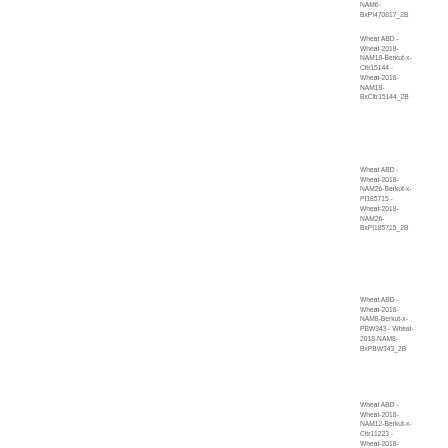NAM6-BxPI470817_2B
Wheat ABD - Wheat-2018-NAM18-Berkut-x-Cltr15144 - Wheat-2018-NAM18-BxCltr15144_2B
Wheat ABD - Wheat-2018-NAM26-Berkut-x-PI185715 - Wheat-2018-NAM26-BxPI185715_2B
Wheat ABD - Wheat-2018-NAM8-Berkut-x-PBW343 - Wheat-2018-NAM8-BxPBW343_2B
Wheat ABD - Wheat-2018-NAM12-Berkut-x-Cltr11223 - Wheat-2018-NAM12-